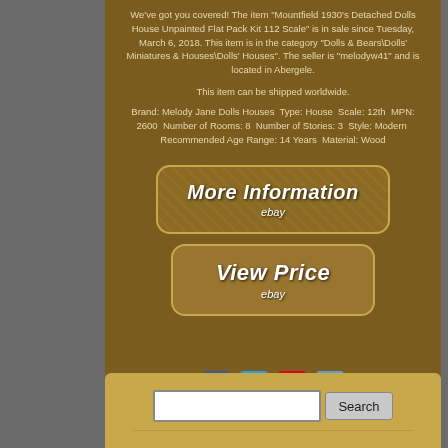We've got you covered! The item "Mountfield 1930's Detached Dolls House Unpainted Flat Pack Kit 112 Scale" is in sale since Tuesday, March 6, 2018. This item is in the category "Dolls & Bears\Dolls' Miniatures & Houses\Dolls' Houses". The seller is "melodyw41" and is located in Abergele.
This item can be shipped worldwide.
Brand: Melody Jane Dolls Houses Type: House Scale: 12th MPN: 2600 Number of Rooms: 8 Number of Stories: 3 Style: Modern Recommended Age Range: 14 Years Material: Wood
[Figure (screenshot): Button labeled 'More Information' with eBay branding]
[Figure (screenshot): Button labeled 'View Price' with eBay branding]
[Figure (infographic): Social sharing icons: Facebook, Twitter, Pinterest, Email]
Search